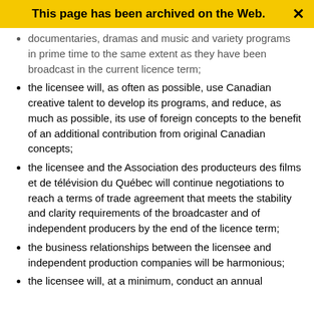This page has been archived on the Web.
documentaries, dramas and music and variety programs in prime time to the same extent as they have been broadcast in the current licence term;
the licensee will, as often as possible, use Canadian creative talent to develop its programs, and reduce, as much as possible, its use of foreign concepts to the benefit of an additional contribution from original Canadian concepts;
the licensee and the Association des producteurs des films et de télévision du Québec will continue negotiations to reach a terms of trade agreement that meets the stability and clarity requirements of the broadcaster and of independent producers by the end of the licence term;
the business relationships between the licensee and independent production companies will be harmonious;
the licensee will, at a minimum, conduct an annual